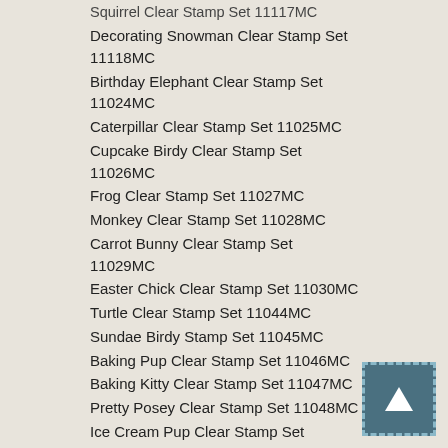Squirrel Clear Stamp Set 11117MC
Decorating Snowman Clear Stamp Set 11118MC
Birthday Elephant Clear Stamp Set 11024MC
Caterpillar Clear Stamp Set 11025MC
Cupcake Birdy Clear Stamp Set 11026MC
Frog Clear Stamp Set 11027MC
Monkey Clear Stamp Set 11028MC
Carrot Bunny Clear Stamp Set 11029MC
Easter Chick Clear Stamp Set 11030MC
Turtle Clear Stamp Set 11044MC
Sundae Birdy Stamp Set 11045MC
Baking Pup Clear Stamp Set 11046MC
Baking Kitty Clear Stamp Set 11047MC
Pretty Posey Clear Stamp Set 11048MC
Ice Cream Pup Clear Stamp Set 11049MC
Umbrella Friends Clear Stamp Set 11050LC
Halloween Frog Clear Stamp Set